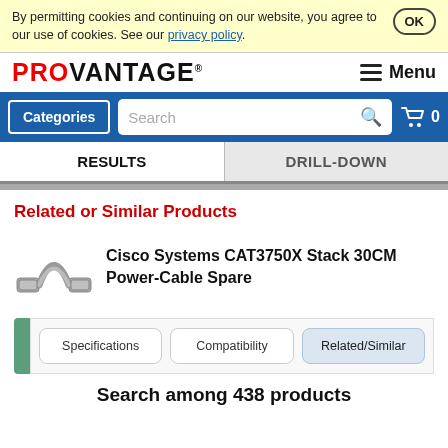By permitting cookies and continuing on our website, you agree to our use of cookies. See our privacy policy.
PROVANTAGE — Menu
Categories | Search | Cart 0
RESULTS | DRILL-DOWN
Related or Similar Products
[Figure (photo): Photo of Cisco Systems CAT3750X Stack 30CM Power-Cable Spare — a short gray cable with connectors on each end]
Cisco Systems CAT3750X Stack 30CM Power-Cable Spare
Specifications | Compatibility | Related/Similar
Search among 438 products